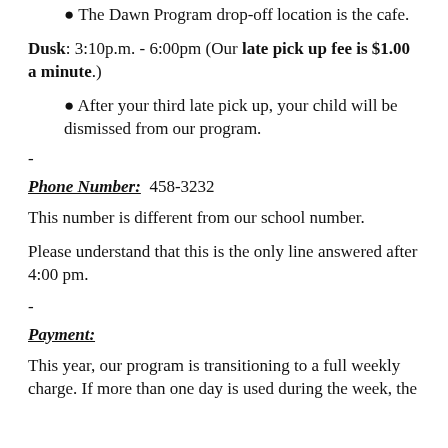The Dawn Program drop-off location is the cafe.
Dusk: 3:10p.m. - 6:00pm (Our late pick up fee is $1.00 a minute.)
After your third late pick up, your child will be dismissed from our program.
-
Phone Number:  458-3232
This number is different from our school number.
Please understand that this is the only line answered after 4:00 pm.
-
Payment:
This year, our program is transitioning to a full weekly charge. If more than one day is used during the week, the